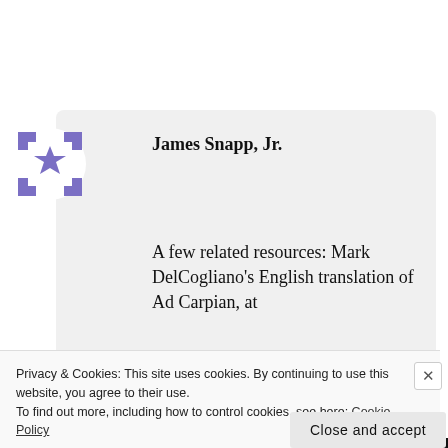[Figure (logo): Purple/blue geometric snowflake-star pattern circular avatar icon for James Snapp Jr.]
James Snapp, Jr.
A few related resources: Mark DelCogliano's English translation of Ad Carpian, at
Privacy & Cookies: This site uses cookies. By continuing to use this website, you agree to their use.
To find out more, including how to control cookies, see here: Cookie Policy
Close and accept